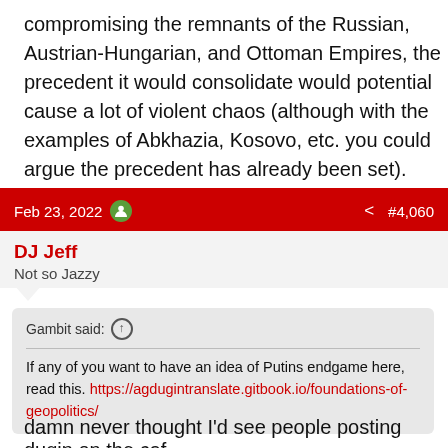compromising the remnants of the Russian, Austrian-Hungarian, and Ottoman Empires, the precedent it would consolidate would potential cause a lot of violent chaos (although with the examples of Abkhazia, Kosovo, etc. you could argue the precedent has already been set).
Feb 23, 2022   #4,060
DJ Jeff
Not so Jazzy
Gambit said: ↑
If any of you want to have an idea of Putins endgame here, read this. https://agdugintranslate.gitbook.io/foundations-of-geopolitics/
damn never thought I'd see people posting dugin on the caf